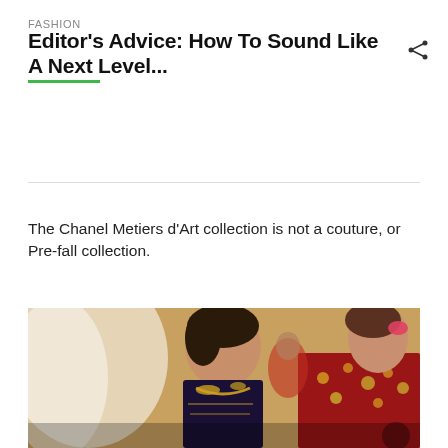FASHION
Editor's Advice: How To Sound Like A Next Level...
The Chanel Metiers d'Art collection is not a couture, or Pre-fall collection.
[Figure (photo): Two fashion models backstage at what appears to be a Chanel show, wearing heavily embroidered and embellished garments. One model wears a dark embellished outfit with gold jewelry, the other wears a red floral embroidered jacket. A person in a red jacket is visible in the background.]